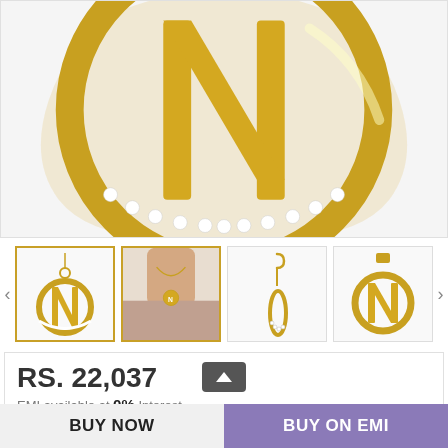[Figure (photo): Close-up of a gold Letter N diamond pendant with diamond-studded circular base in gold, product hero image]
[Figure (photo): Four thumbnail images: (1) Letter N gold pendant on chain, active/selected; (2) model wearing the pendant around neck; (3) side profile view of pendant; (4) close-up angle of pendant. Left and right navigation arrows visible.]
RS. 22,037
EMI available at 0% Interest.
Know EMI Process
Letter N Diamond Pendant
BUY NOW
BUY ON EMI